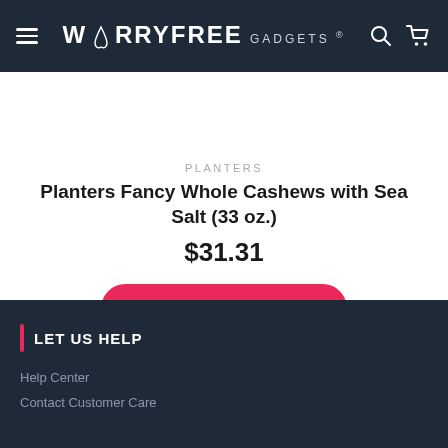WORRYFREE GADGETS ®
[Figure (photo): Partial view of a Planters Fancy Whole Cashews jar/container showing cashews inside, cropped at top]
PLANTERS
Planters Fancy Whole Cashews with Sea Salt (33 oz.)
$31.31
ADD TO CART
LET US HELP
Help Center
Contact Customer Care